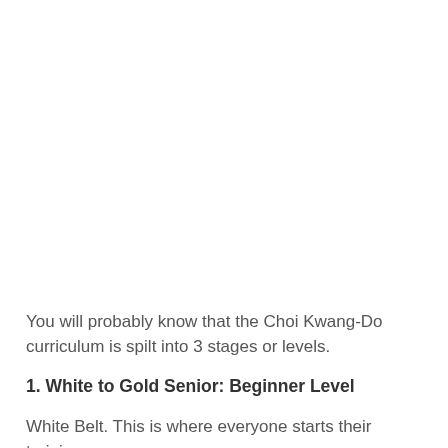You will probably know that the Choi Kwang-Do curriculum is spilt into 3 stages or levels.
1. White to Gold Senior: Beginner Level
White Belt. This is where everyone starts their training.